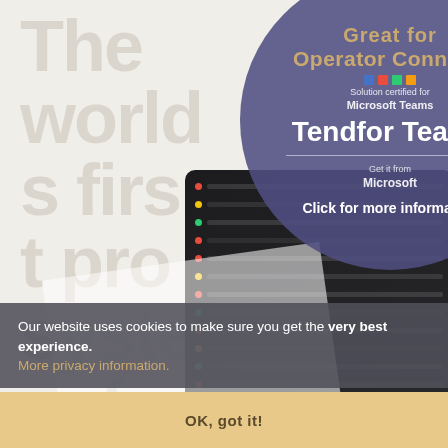[Figure (screenshot): Tablet screenshot showing a dark-themed application interface with colored status dots (red, yellow, green) and rows of text items]
The world's first pro system for native Teams telephony
[Figure (infographic): Circular dark purple/navy overlay with text: 'Great for Operator Connect! Solution certified for Microsoft Teams. Tendfor Teams. Get it from Microsoft. Click for more information']
Our website uses cookies to make sure you get the very best experience.
More privacy information.
OK, got it!